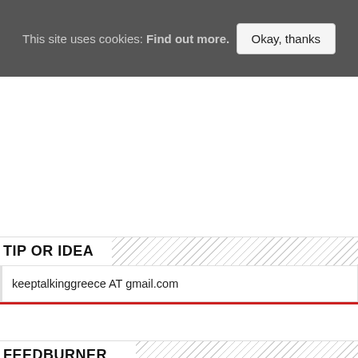This site uses cookies: Find out more. | Okay, thanks
TIP OR IDEA
keeptalkinggreece AT gmail.com
FEEDBURNER
Subscribe to our email newsletter.
Enter your e-mail address